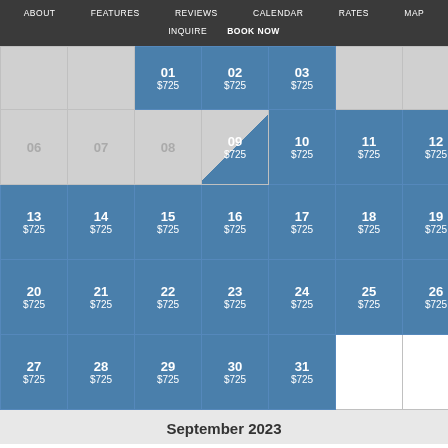ABOUT  FEATURES  REVIEWS  CALENDAR  RATES  MAP  INQUIRE  BOOK NOW
| 01 $725 | 02 $725 | 03 $725 | (gray) | (gray) |
| 06(gray) | 07(gray) | 08(gray) | 09 $725(half) | 10 $725 | 11 $725 | 12 $725 |
| 13 $725 | 14 $725 | 15 $725 | 16 $725 | 17 $725 | 18 $725 | 19 $725 |
| 20 $725 | 21 $725 | 22 $725 | 23 $725 | 24 $725 | 25 $725 | 26 $725 |
| 27 $725 | 28 $725 | 29 $725 | 30 $725 | 31 $725 |  |  |
September 2023